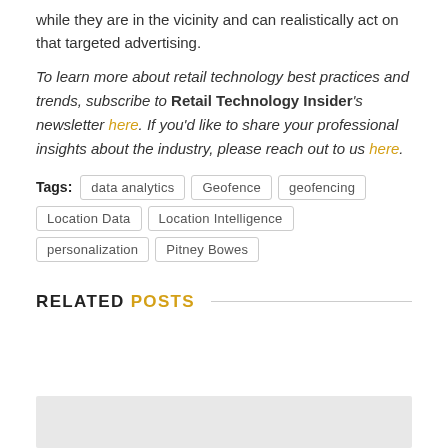while they are in the vicinity and can realistically act on that targeted advertising.
To learn more about retail technology best practices and trends, subscribe to Retail Technology Insider's newsletter here. If you'd like to share your professional insights about the industry, please reach out to us here.
Tags: data analytics  Geofence  geofencing  Location Data  Location Intelligence  personalization  Pitney Bowes
RELATED POSTS